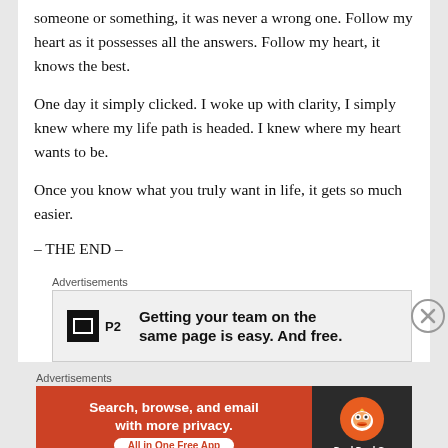someone or something, it was never a wrong one. Follow my heart as it possesses all the answers. Follow my heart, it knows the best.
One day it simply clicked. I woke up with clarity, I simply knew where my life path is headed. I knew where my heart wants to be.
Once you know what you truly want in life, it gets so much easier.
– THE END –
Advertisements
[Figure (other): P2 advertisement banner: logo showing a square P2 icon, text reading 'Getting your team on the same page is easy. And free.']
Advertisements
[Figure (other): DuckDuckGo advertisement: orange background left side with text 'Search, browse, and email with more privacy. All in One Free App', dark right side with DuckDuckGo logo and duck icon.]